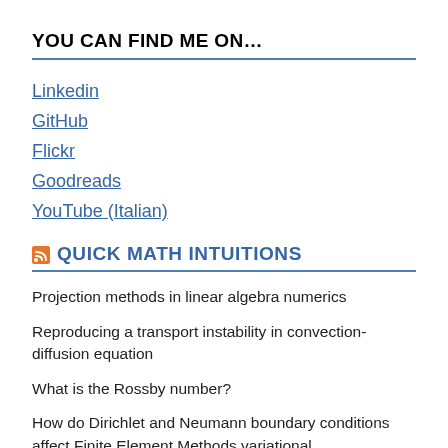YOU CAN FIND ME ON…
Linkedin
GitHub
Flickr
Goodreads
YouTube (Italian)
QUICK MATH INTUITIONS
Projection methods in linear algebra numerics
Reproducing a transport instability in convection-diffusion equation
What is the Rossby number?
How do Dirichlet and Neumann boundary conditions affect Finite Element Methods variational